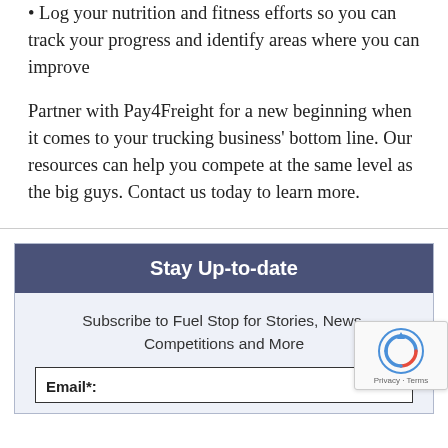• Log your nutrition and fitness efforts so you can track your progress and identify areas where you can improve
Partner with Pay4Freight for a new beginning when it comes to your trucking business' bottom line. Our resources can help you compete at the same level as the big guys. Contact us today to learn more.
Stay Up-to-date
Subscribe to Fuel Stop for Stories, News, Competitions and More
Email*: